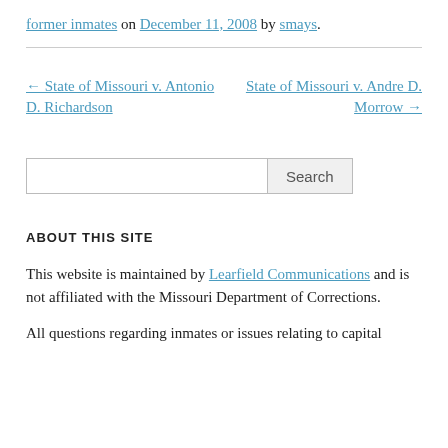former inmates on December 11, 2008 by smays.
← State of Missouri v. Antonio D. Richardson
State of Missouri v. Andre D. Morrow →
Search
ABOUT THIS SITE
This website is maintained by Learfield Communications and is not affiliated with the Missouri Department of Corrections.
All questions regarding inmates or issues relating to capital